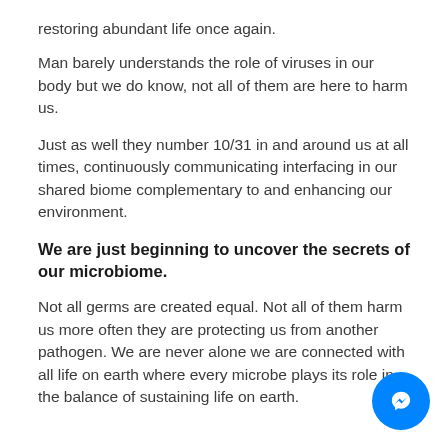restoring abundant life once again.
Man barely understands the role of viruses in our body but we do know, not all of them are here to harm us.
Just as well they number 10/31 in and around us at all times, continuously communicating interfacing in our shared biome complementary to and enhancing our environment.
We are just beginning to uncover the secrets of our microbiome.
Not all germs are created equal. Not all of them harm us more often they are protecting us from another pathogen. We are never alone we are connected with all life on earth where every microbe plays its role in the balance of sustaining life on earth.